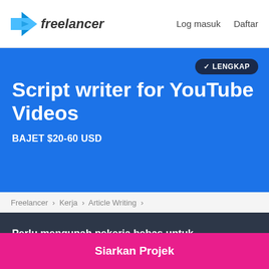freelancer   Log masuk   Daftar
Script writer for YouTube Videos
BAJET $20-60 USD
✓ LENGKAP
Freelancer › Kerja › Article Writing ›
Perlu mengupah pekerja bebas untuk pekerjaan?
Siarkan Projek